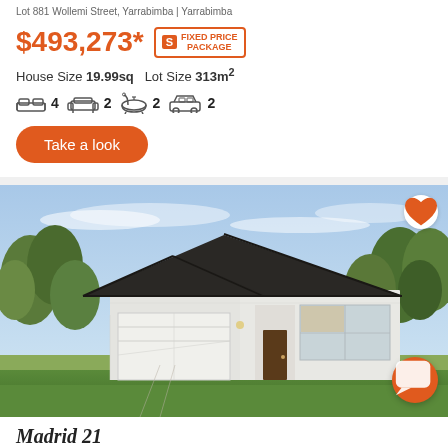Lot 881 Wollemi Street, Yarrabimba | Yarrabimba
$493,273* FIXED PRICE PACKAGE
House Size 19.99sq  Lot Size 313m²
4 bedrooms  2 living  2 bathrooms  2 garage
Take a look
[Figure (photo): Exterior render of a single-storey house with dark roof, white cladding, double garage, large windows, landscaped front garden with lawn and shrubs, tree-lined background and blue sky.]
Madrid 21